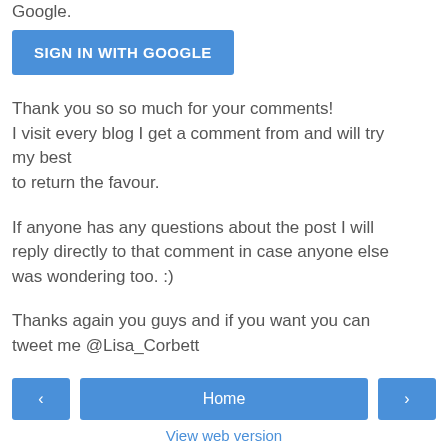Google.
[Figure (other): Blue button labeled SIGN IN WITH GOOGLE]
Thank you so so much for your comments!
I visit every blog I get a comment from and will try my best
to return the favour.
If anyone has any questions about the post I will reply directly to that comment in case anyone else was wondering too. :)
Thanks again you guys and if you want you can tweet me @Lisa_Corbett
L xo
[Figure (other): Navigation bar with back arrow, Home button, and forward arrow]
View web version